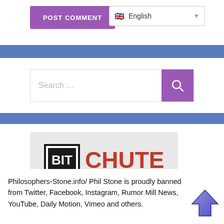[Figure (screenshot): POST COMMENT button (purple) and English language selector dropdown]
[Figure (screenshot): Search bar with purple search button and magnifying glass icon]
[Figure (logo): BitChute logo: BIT in bold black box, CHUTE in red text, on grey background]
Philosophers-Stone.info/ Phil Stone is proudly banned from Twitter, Facebook, Instagram, Rumor Mill News, YouTube, Daily Motion, Vimeo and others.